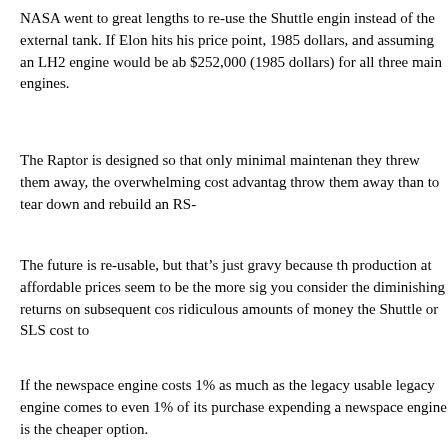NASA went to great lengths to re-use the Shuttle engines instead of the external tank. If Elon hits his price point, 1985 dollars, and assuming an LH2 engine would be about $252,000 (1985 dollars) for all three main engines.
The Raptor is designed so that only minimal maintenance they threw them away, the overwhelming cost advantage throw them away than to tear down and rebuild an RS-
The future is re-usable, but that's just gravy because the production at affordable prices seem to be the more significant you consider the diminishing returns on subsequent costs ridiculous amounts of money the Shuttle or SLS cost to
If the newspace engine costs 1% as much as the legacy usable legacy engine comes to even 1% of its purchase expending a newspace engine is the cheaper option.